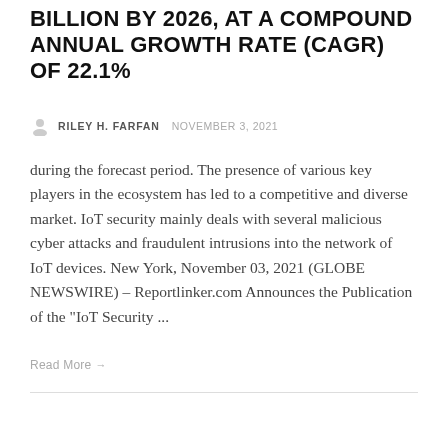BILLION BY 2026, AT A COMPOUND ANNUAL GROWTH RATE (CAGR) OF 22.1%
RILEY H. FARFAN  NOVEMBER 3, 2021
during the forecast period. The presence of various key players in the ecosystem has led to a competitive and diverse market. IoT security mainly deals with several malicious cyber attacks and fraudulent intrusions into the network of IoT devices. New York, November 03, 2021 (GLOBE NEWSWIRE) – Reportlinker.com Announces the Publication of the "IoT Security ...
Read More →